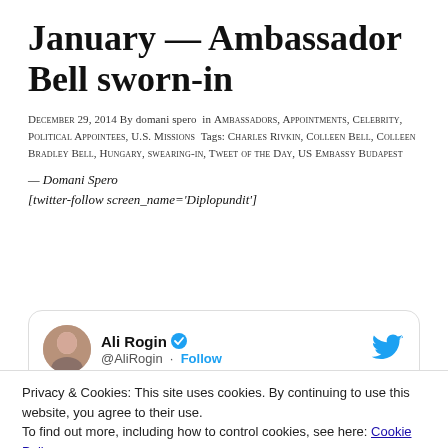January — Ambassador Bell sworn-in
December 29, 2014 By domani spero in Ambassadors, Appointments, Celebrity, Political Appointees, U.S. Missions Tags: Charles Rivkin, Colleen Bell, Colleen Bradley Bell, Hungary, swearing-in, Tweet of the Day, US Embassy Budapest
— Domani Spero
[twitter-follow screen_name='Diplopundit']
[Figure (screenshot): Embedded tweet from @AliRogin with verified badge, Follow button, and Twitter bird icon. Tweet footer shows 2:43 PM · Dec 16, 2014.]
Privacy & Cookies: This site uses cookies. By continuing to use this website, you agree to their use.
To find out more, including how to control cookies, see here: Cookie Policy
Close and accept